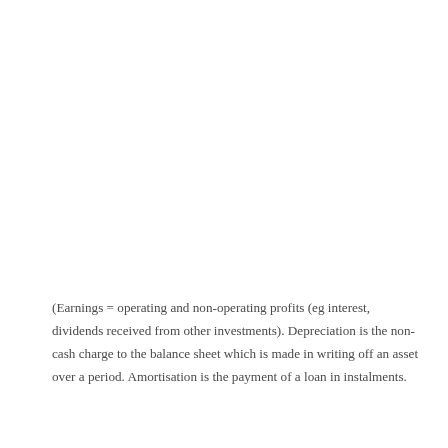(Earnings = operating and non-operating profits (eg interest, dividends received from other investments). Depreciation is the non-cash charge to the balance sheet which is made in writing off an asset over a period. Amortisation is the payment of a loan in instalments.